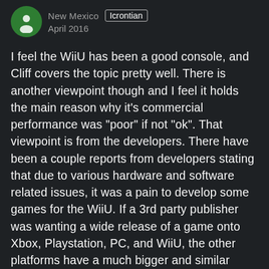New Mexico  Icrontian
April 2016
I feel the WiiU has been a good console, and Cliff covers the topic pretty well. There is another viewpoint though and I feel it holds the main reason why it's commercial performance was "poor" if not "ok". That viewpoint is from the developers. There have been a couple reports from developers stating that due to various hardware and software related issues, it was a pain to develop some games for the WiiU. If a 3rd party publisher was wanting a wide release of a game onto Xbox, Playstation, PC, and WiiU, the other platforms have a much bigger and similar ceiling and wider hallways to port the game. The WiiU's ceiling is shorter, different, and the walls are closer by comparison. Developers may have to put in a lot more work to get the WiiU port running properly. Due dates, and questionable sales mean the effort could not be worth it. Titles that had a more open or younger audience, which in turn were more likely to have a style that fit the WiiU's capabilities,